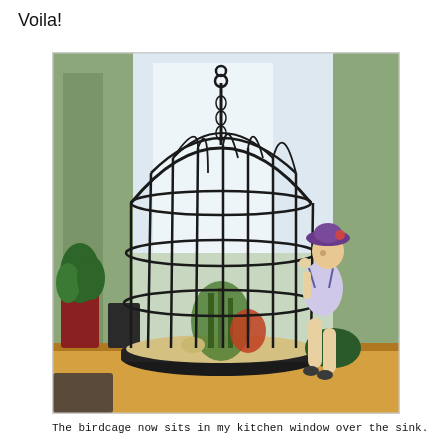Voila!
[Figure (photo): A decorative wire birdcage repurposed as a terrarium, sitting on a wooden windowsill. The cage contains air plants, sand, and small decorative items. Next to it sits a ceramic figurine of a woman in a hat and swimsuit leaning on a dark green ball. Various plants are visible in the background near a large window with trees outside.]
The  birdcage now sits in my kitchen window over the sink.